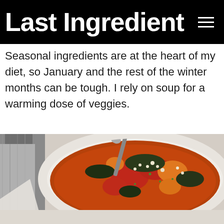Last Ingredient
Seasonal ingredients are at the heart of my diet, so January and the rest of the winter months can be tough. I rely on soup for a warming dose of veggies.
[Figure (photo): A white bowl filled with a hearty vegetable soup containing chunks of tomato, sweet potato, dark leafy greens (kale), and grains in a reddish-orange broth, with a spoon in the bowl. A grey fabric napkin is visible to the left side.]